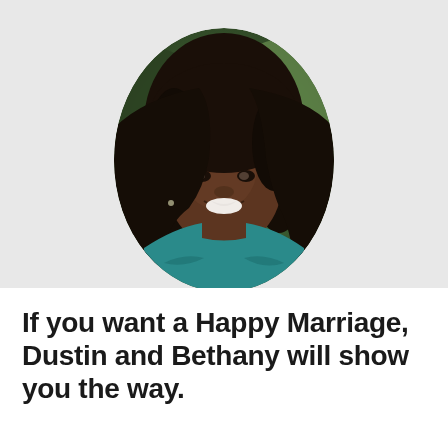[Figure (photo): Portrait photo of a smiling Black woman with long dark hair, wearing a teal patterned top, displayed in an oval/circle crop against a blurred green outdoor background.]
If you want a Happy Marriage, Dustin and Bethany will show you the way.